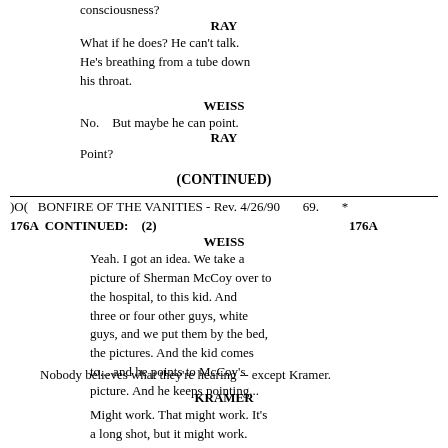consciousness?
RAY
What if he does? He can't talk. He's breathing from a tube down his throat.
WEISS
No.   But maybe he can point.
RAY
Point?
(CONTINUED)
)O(   BONFIRE OF THE VANITIES - Rev. 4/26/90     69.        *
176A  CONTINUED:   (2)                      176A
WEISS
Yeah. I got an idea. We take a picture of Sherman McCoy over to the hospital, to this kid. And three or four other guys, white guys, and we put them by the bed, the pictures. And the kid comes to... and he points to McCoy's picture. And he keeps pointing...
Nobody believes what they're hearing -- except Kramer.
KRAMER
Might work. That might work. It's a long shot, but it might work.